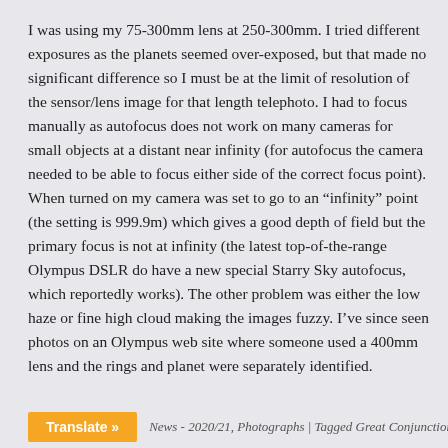I was using my 75-300mm lens at 250-300mm. I tried different exposures as the planets seemed over-exposed, but that made no significant difference so I must be at the limit of resolution of the sensor/lens image for that length telephoto. I had to focus manually as autofocus does not work on many cameras for small objects at a distant near infinity (for autofocus the camera needed to be able to focus either side of the correct focus point). When turned on my camera was set to go to an “infinity” point (the setting is 999.9m) which gives a good depth of field but the primary focus is not at infinity (the latest top-of-the-range Olympus DSLR do have a new special Starry Sky autofocus, which reportedly works). The other problem was either the low haze or fine high cloud making the images fuzzy. I’ve since seen photos on an Olympus web site where someone used a 400mm lens and the rings and planet were separately identified.
Po... | News - 2020/21, Photographs | Tagged Great Conjunction,